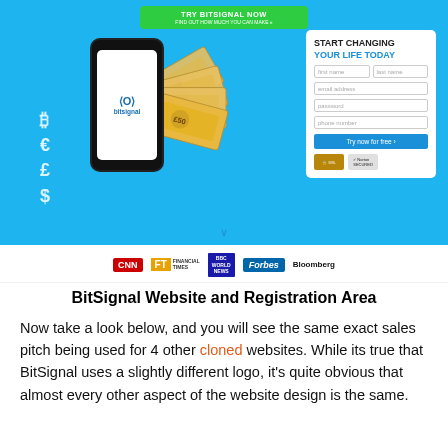[Figure (screenshot): BitSignal website screenshot showing a registration form with fields for first name, last name, email, password, phone number, a 'Try now for free' button, trust badges, and a hero image with a hand holding a phone displaying the BitSignal logo surrounded by currency symbols and banknotes. A green 'TRY BITSIGNAL NOW' call-to-action button is at the top.]
[Figure (logo): Media logos bar showing CNN, FT Financial Times, BBC World News, Forbes, and Bloomberg logos]
BitSignal Website and Registration Area
Now take a look below, and you will see the same exact sales pitch being used for 4 other cloned websites. While its true that BitSignal uses a slightly different logo, it's quite obvious that almost every other aspect of the website design is the same.